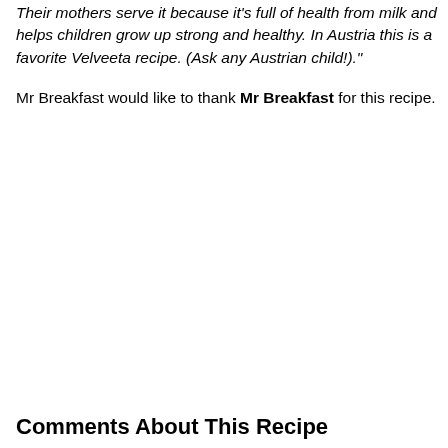Their mothers serve it because it's full of health from milk and helps children grow up strong and healthy. In Austria this is a favorite Velveeta recipe. (Ask any Austrian child!)."
Mr Breakfast would like to thank Mr Breakfast for this recipe.
Comments About This Recipe